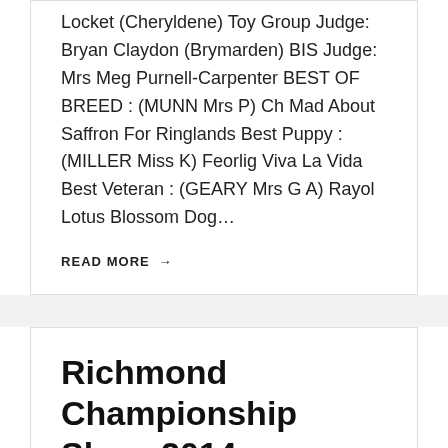Locket (Cheryldene) Toy Group Judge: Bryan Claydon (Brymarden) BIS Judge: Mrs Meg Purnell-Carpenter BEST OF BREED : (MUNN Mrs P) Ch Mad About Saffron For Ringlands Best Puppy : (MILLER Miss K) Feorlig Viva La Vida Best Veteran : (GEARY Mrs G A) Rayol Lotus Blossom Dog…
READ MORE →
Richmond Championship Show 2014
05 September 2014 Papillon Judge: Ken